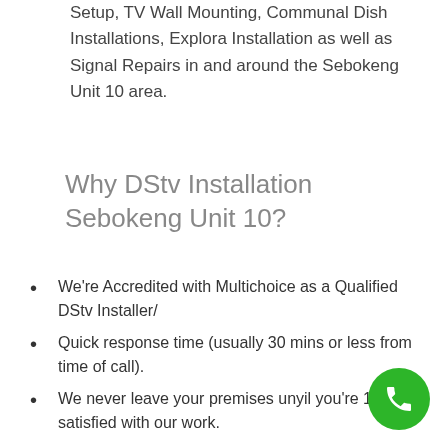Setup, TV Wall Mounting, Communal Dish Installations, Explora Installation as well as Signal Repairs in and around the Sebokeng Unit 10 area.
Why DStv Installation Sebokeng Unit 10?
We're Accredited with Multichoice as a Qualified DStv Installer/
Quick response time (usually 30 mins or less from time of call).
We never leave your premises unyil you're 100% satisfied with our work.
We offer the best rates NATIONWIDE!